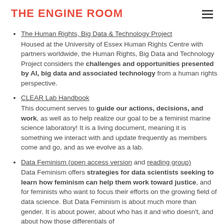THE ENGINE ROOM
The Human Rights, Big Data & Technology Project
Housed at the University of Essex Human Rights Centre with partners worldwide, the Human Rights, Big Data and Technology Project considers the challenges and opportunities presented by AI, big data and associated technology from a human rights perspective.
CLEAR Lab Handbook
This document serves to guide our actions, decisions, and work, as well as to help realize our goal to be a feminist marine science laboratory! It is a living document, meaning it is something we interact with and update frequently as members come and go, and as we evolve as a lab.
Data Feminism (open access version and reading group)
Data Feminism offers strategies for data scientists seeking to learn how feminism can help them work toward justice, and for feminists who want to focus their efforts on the growing field of data science. But Data Feminism is about much more than gender. It is about power, about who has it and who doesn't, and about how those differentials of...